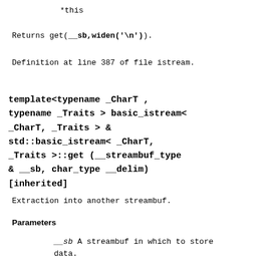*this
Returns get(__sb,widen('\n')).
Definition at line 387 of file istream.
template<typename _CharT , typename _Traits > basic_istream< _CharT, _Traits > & std::basic_istream< _CharT, _Traits >::get (__streambuf_type & __sb, char_type __delim) [inherited]
Extraction into another streambuf.
Parameters
__sb A streambuf in which to store data.